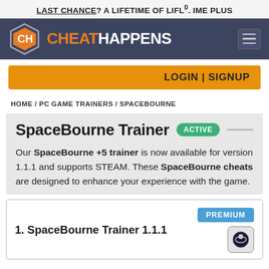LAST CHANCE? A LIFETIME OF LIFL°. IME PLUS
[Figure (logo): CheatHappens logo with hexagonal CH icon in orange and white on dark navy background, with hamburger menu icon on the right]
LOGIN | SIGNUP
HOME / PC GAME TRAINERS / SPACEBOURNE
SpaceBourne Trainer ACTIVE
Our SpaceBourne +5 trainer is now available for version 1.1.1 and supports STEAM. These SpaceBourne cheats are designed to enhance your experience with the game.
1. SpaceBourne Trainer 1.1.1 PREMIUM